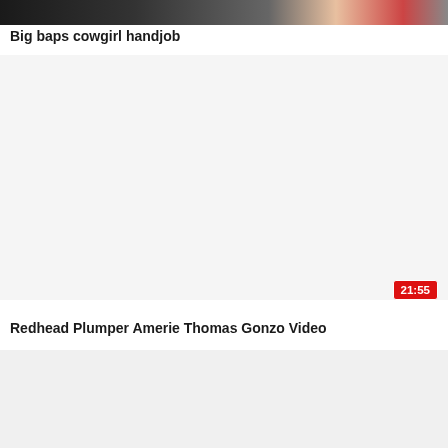[Figure (screenshot): Partial thumbnail image at top of page, cropped]
Big baps cowgirl handjob
[Figure (screenshot): White/blank video thumbnail with duration badge showing 21:55]
Redhead Plumper Amerie Thomas Gonzo Video
[Figure (screenshot): Partial white/light video thumbnail at bottom of page]